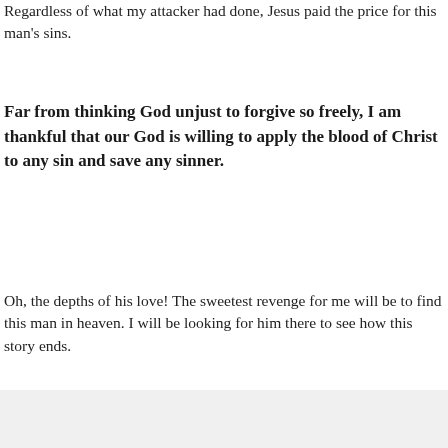Regardless of what my attacker had done, Jesus paid the price for this man's sins.
Far from thinking God unjust to forgive so freely, I am thankful that our God is willing to apply the blood of Christ to any sin and save any sinner.
Oh, the depths of his love! The sweetest revenge for me will be to find this man in heaven. I will be looking for him there to see how this story ends.